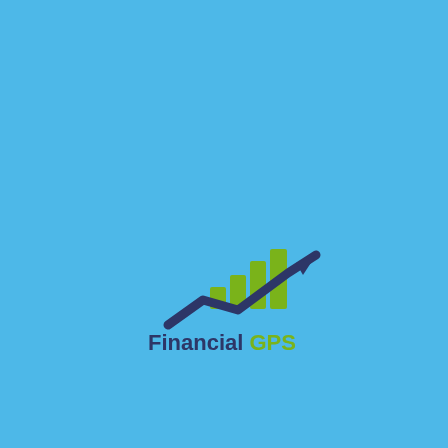[Figure (logo): Financial GPS logo: green bar chart bars with a dark navy upward trending arrow line beneath, and text 'Financial GPS' below where 'Financial' is dark navy and 'GPS' is olive/yellow-green]